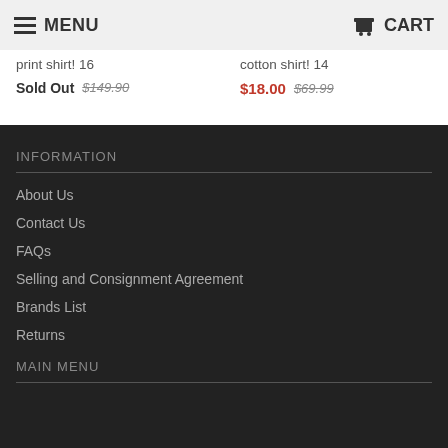MENU | CART
print shirt! 16
Sold Out $149.90
cotton shirt! 14
$18.00 $69.99
INFORMATION
About Us
Contact Us
FAQs
Selling and Consignment Agreement
Brands List
Returns
MAIN MENU